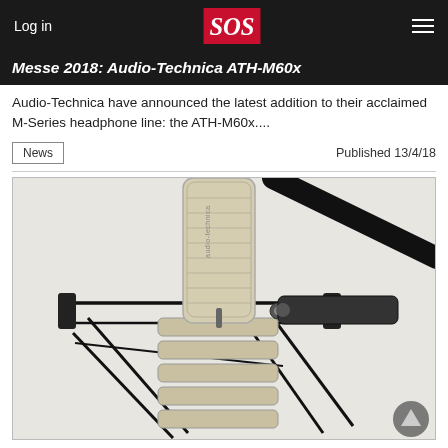Log in  |  SOS  |  ☰
Messe 2018: Audio-Technica ATH-M60x
Audio-Technica have announced the latest addition to their acclaimed M-Series headphone line: the ATH-M60x....
News  |  Published 13/4/18
[Figure (photo): Close-up photo of an Audio-Technica large-diaphragm condenser microphone mounted in a shock mount on a mic stand, shown against a white background. The microphone body is silver/champagne colored with visible branding text 'audio-technica' on the side. A black microphone cable runs diagonally across the upper right.]